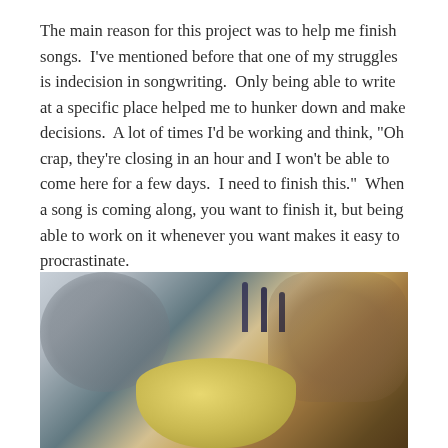The main reason for this project was to help me finish songs.  I've mentioned before that one of my struggles is indecision in songwriting.  Only being able to write at a specific place helped me to hunker down and make decisions.  A lot of times I'd be working and think, "Oh crap, they're closing in an hour and I won't be able to come here for a few days.  I need to finish this."  When a song is coming along, you want to finish it, but being able to work on it whenever you want makes it easy to procrastinate.
[Figure (photo): A blurry close-up photo taken in a café or coffee shop setting. In the foreground is a yellow/golden ceramic cup or bowl. The background is blurred and shows what appears to be dark writing instruments (pens/markers) standing upright, and some wooden surface on the right. The left side has a grayish blurred area.]